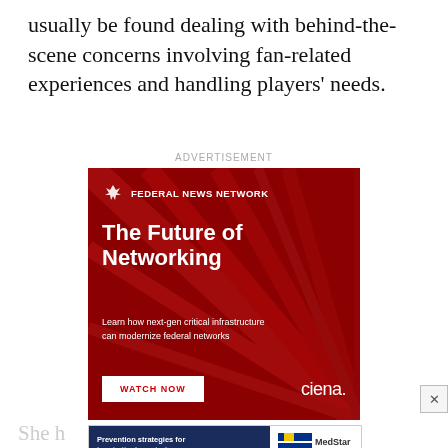usually be found dealing with behind-the-scene concerns involving fan-related experiences and handling players' needs.
ADVERTISEMENT
[Figure (infographic): Federal News Network advertisement: 'The Future of Networking' - Learn how next-gen critical infrastructure can modernize federal networks. Watch Now button. Ciena logo. Red background with light rays.]
[Figure (infographic): MedStar Health advertisement: Prevention strategies for heart attack or stroke. Schedule a consultation.]
She h